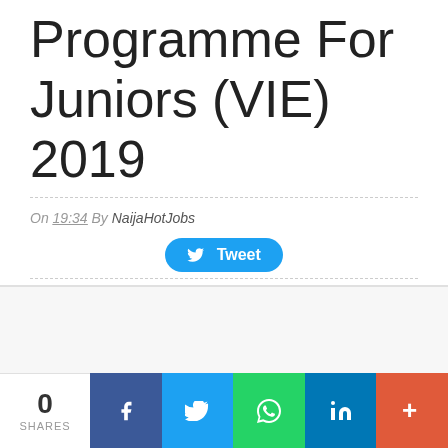Programme For Juniors (VIE) 2019
On 19:34 By NaijaHotJobs
[Figure (other): Tweet button]
[Figure (other): Social share bar with 0 SHARES, Facebook, Twitter, WhatsApp, LinkedIn, and More buttons]